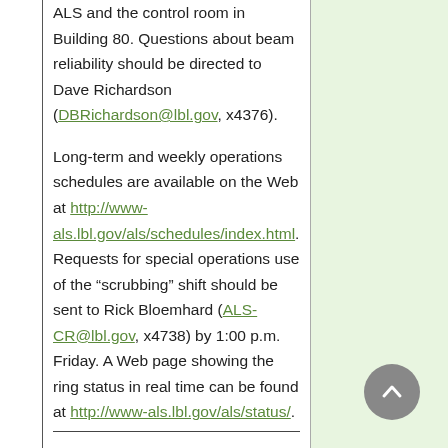ALS and the control room in Building 80. Questions about beam reliability should be directed to Dave Richardson (DBRichardson@lbl.gov, x4376).

Long-term and weekly operations schedules are available on the Web at http://www-als.lbl.gov/als/schedules/index.html. Requests for special operations use of the "scrubbing" shift should be sent to Rick Bloemhard (ALS-CR@lbl.gov, x4738) by 1:00 p.m. Friday. A Web page showing the ring status in real time can be found at http://www-als.lbl.gov/als/status/.